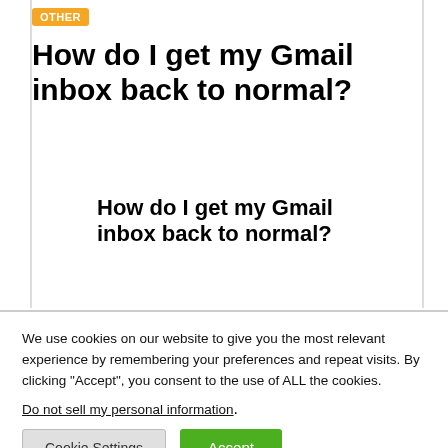OTHER
How do I get my Gmail inbox back to normal?
How do I get my Gmail inbox back to normal?
We use cookies on our website to give you the most relevant experience by remembering your preferences and repeat visits. By clicking “Accept”, you consent to the use of ALL the cookies.
Do not sell my personal information.